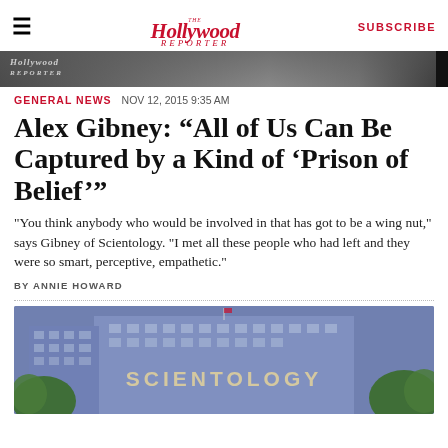The Hollywood Reporter | SUBSCRIBE
[Figure (photo): Black and white photo strip at top of article, partially visible. Contains Hollywood Reporter watermark logo.]
GENERAL NEWS  NOV 12, 2015 9:35 AM
Alex Gibney: “All of Us Can Be Captured by a Kind of ‘Prison of Belief’”
"You think anybody who would be involved in that has got to be a wing nut," says Gibney of Scientology. "I met all these people who had left and they were so smart, perceptive, empathetic."
BY ANNIE HOWARD
[Figure (photo): Photo of a large blue building with SCIENTOLOGY signage in large letters on the facade, with trees visible on either side. Purple/blue sky background.]